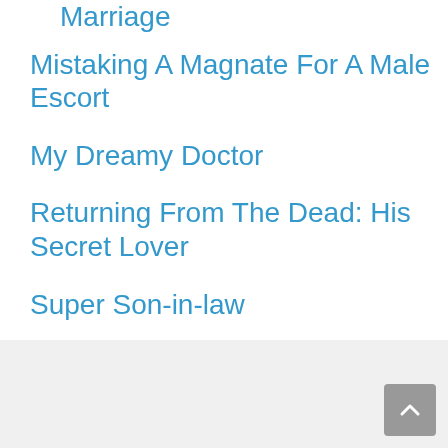Marriage
Mistaking A Magnate For A Male Escort
My Dreamy Doctor
Returning From The Dead: His Secret Lover
Super Son-in-law
The Poorest Rich Man
This Time, I Will Get My Divorce, Mr